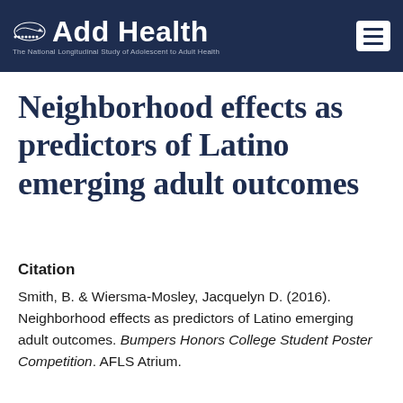Add Health — The National Longitudinal Study of Adolescent to Adult Health
Neighborhood effects as predictors of Latino emerging adult outcomes
Citation
Smith, B. & Wiersma-Mosley, Jacquelyn D. (2016). Neighborhood effects as predictors of Latino emerging adult outcomes. Bumpers Honors College Student Poster Competition. AFLS Atrium.